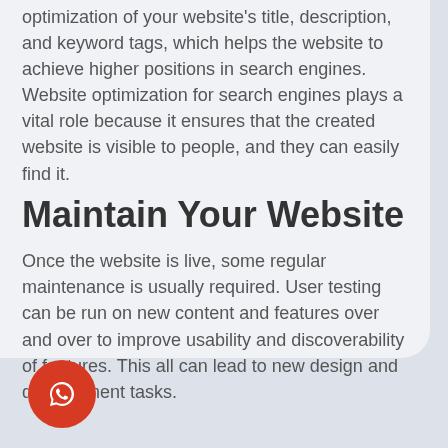optimization of your website's title, description, and keyword tags, which helps the website to achieve higher positions in search engines. Website optimization for search engines plays a vital role because it ensures that the created website is visible to people, and they can easily find it.
Maintain Your Website
Once the website is live, some regular maintenance is usually required. User testing can be run on new content and features over and over to improve usability and discoverability of features. This all can lead to new design and development tasks.
[Figure (illustration): WhatsApp icon button - orange/red circular button with WhatsApp logo in white]